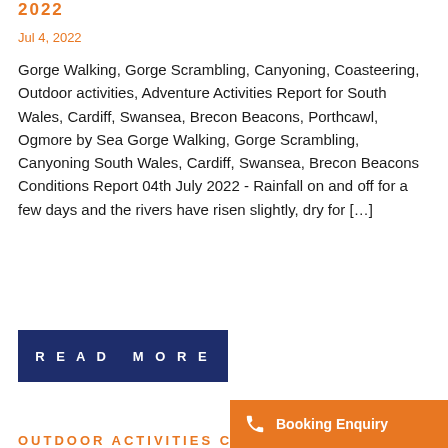2022
Jul 4, 2022
Gorge Walking, Gorge Scrambling, Canyoning, Coasteering, Outdoor activities, Adventure Activities Report for South Wales, Cardiff, Swansea, Brecon Beacons, Porthcawl, Ogmore by Sea Gorge Walking, Gorge Scrambling, Canyoning South Wales, Cardiff, Swansea, Brecon Beacons Conditions Report 04th July 2022 - Rainfall on and off for a few days and the rivers have risen slightly, dry for [...]
READ MORE
OUTDOOR ACTIVITIES CARD
Booking Enquiry